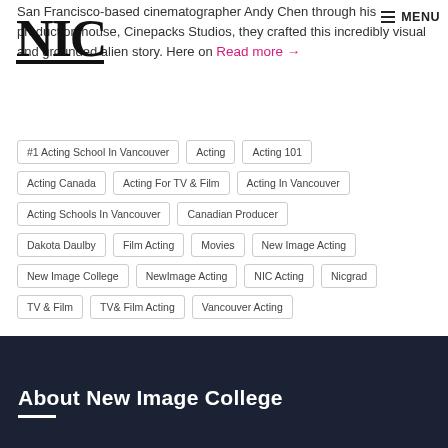[Figure (logo): NIC New Image College logo, black block letters]
≡ MENU
San Francisco-based cinematographer Andy Chen through his production house, Cinepacks Studios, they crafted this incredibly visual and grounded alien story. Here on Read more →
#1 Acting School In Vancouver
Acting
Acting 101
Acting Canada
Acting For TV & Film
Acting In Vancouver
Acting Schools In Vancouver
Canadian Producer
Dakota Daulby
Film Acting
Movies
New Image Acting
New Image College
NewImage Acting
NIC Acting
Nicgrad
TV & Film
TV& Film Acting
Vancouver Acting
About New Image College